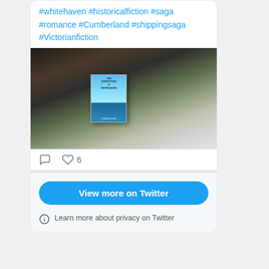#whitehaven #historicalfiction #saga #romance #Cumberland #shippingsaga #Victorianfiction
[Figure (photo): Photo of a book titled something about Whitehaven placed on a granite countertop with a mug, plant, and tin items in the background]
6 likes
View more on Twitter
Learn more about privacy on Twitter